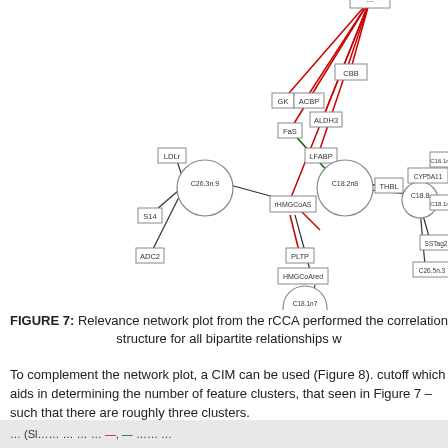[Figure (network-graph): Relevance network plot from rCCA showing bipartite relationships. Nodes include LDLr, S14, ADC2, C26.3n.9, rHMGCoAS, C18.2n8, PLTP, HMGCoAred, C18.1n7, ACBP, GK, FaS, ALDH3, LFABP, CBB, THBL, C18.8, C26.5n.3, CYP5A11, C16.1n, C18.1n, SSTag2. Edges colored red (negative) and green (positive).]
FIGURE 7: Relevance network plot from the rCCA performed the correlation structure for all bipartite relationships w
To complement the network plot, a CIM can be used (Figure 8). cutoff which aids in determining the number of feature clusters, that seen in Figure 7 – such that there are roughly three clusters.